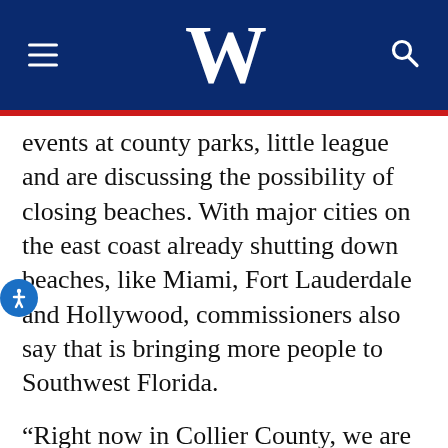W
events at county parks, little league and are discussing the possibility of closing beaches. With major cities on the east coast already shutting down beaches, like Miami, Fort Lauderdale and Hollywood, commissioners also say that is bringing more people to Southwest Florida.
“Right now in Collier County, we are fortunate that our cases are travel-acquired,” said Kristine